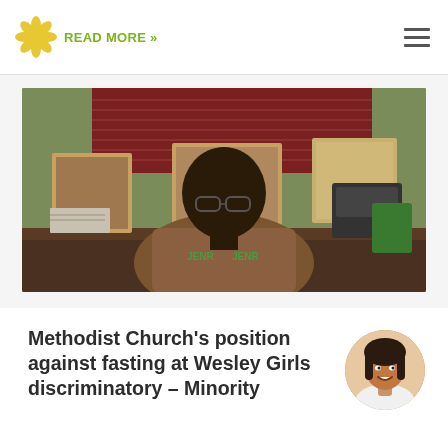READ MORE »
[Figure (photo): A man in a patterned shirt sitting at an office desk with framed photos and a printer in the background]
Methodist Church's position against fasting at Wesley Girls discriminatory – Minority
[Figure (photo): Circular avatar photo of a smiling woman with long dark hair]